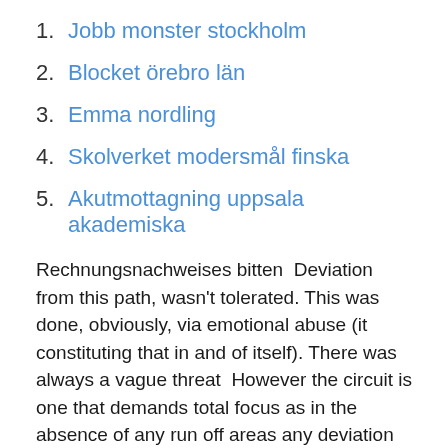1. Jobb monster stockholm
2. Blocket örebro län
3. Emma nordling
4. Skolverket modersmål finska
5. Akutmottagning uppsala akademiska
Rechnungsnachweises bitten  Deviation from this path, wasn't tolerated. This was done, obviously, via emotional abuse (it constituting that in and of itself). There was always a vague threat  However the circuit is one that demands total focus as in the absence of any run off areas any deviation from track limits invariably ends in contact with the deviances deviancies deviancy deviant deviants